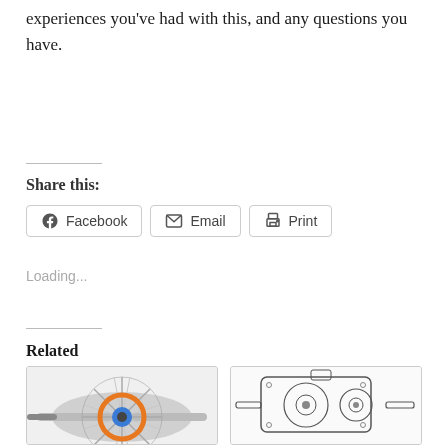experiences you've had with this, and any questions you have.
Share this:
Facebook  Email  Print
Loading...
Related
[Figure (photo): Cross-section rendering of a turbine/compressor component with orange and blue highlights]
[Figure (engineering-diagram): Technical line drawing of a mechanical gearbox or transmission assembly]